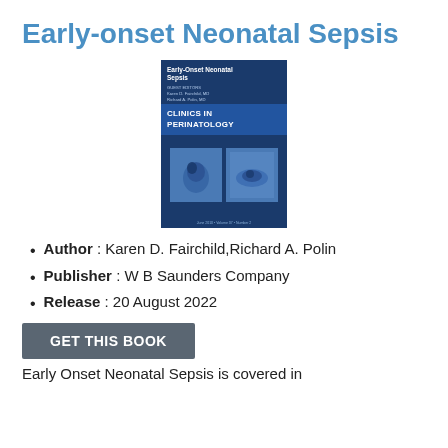Early-onset Neonatal Sepsis
[Figure (photo): Book cover of 'Early-Onset Neonatal Sepsis' from Clinics in Perinatology, showing a dark blue cover with fetal/neonatal images]
Author : Karen D. Fairchild,Richard A. Polin
Publisher : W B Saunders Company
Release : 20 August 2022
GET THIS BOOK
Early Onset Neonatal Sepsis is covered in